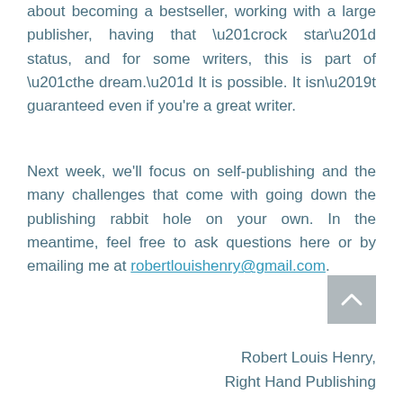about becoming a bestseller, working with a large publisher, having that “rock star” status, and for some writers, this is part of “the dream.” It is possible. It isn’t guaranteed even if you're a great writer.
Next week, we'll focus on self-publishing and the many challenges that come with going down the publishing rabbit hole on your own. In the meantime, feel free to ask questions here or by emailing me at robertlouishenry@gmail.com.
Robert Louis Henry,
Right Hand Publishing